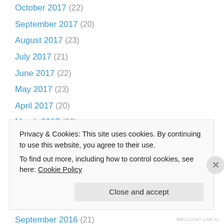October 2017 (22)
September 2017 (20)
August 2017 (23)
July 2017 (21)
June 2017 (22)
May 2017 (23)
April 2017 (20)
March 2017 (23)
February 2017 (20)
January 2017 (21)
December 2016 (21)
November 2016 (21)
October 2016 (21)
September 2016 (21)
Privacy & Cookies: This site uses cookies. By continuing to use this website, you agree to their use. To find out more, including how to control cookies, see here: Cookie Policy
Close and accept